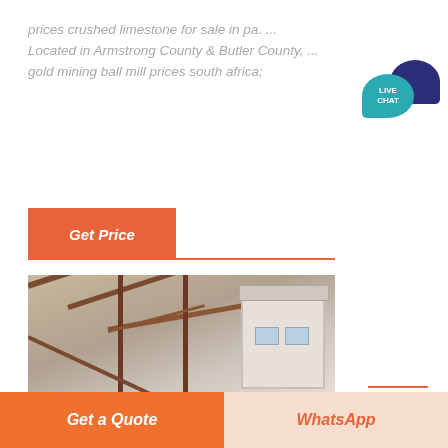prices crushed limestone for sale in pa. ... Located in Armstrong County & Butler County, ... gold mining ball mill prices south africa;
[Figure (other): Orange 'Get Price' button with red-orange separator line below]
[Figure (photo): Industrial mining conveyor structure with steel trusses and a white building/facility in the background]
[Figure (other): Live Chat speech bubble icon — teal bubble in front with LIVE CHAT text, dark navy bubble behind]
[Figure (other): Bottom action bar with orange 'Get a Quote' button on the left and light peach 'WhatsApp' button on the right]